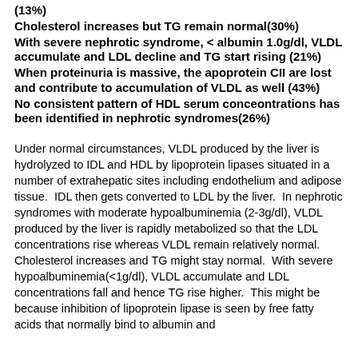(13%)
Cholesterol increases but TG remain normal(30%)
With severe nephrotic syndrome, < albumin 1.0g/dl, VLDL accumulate and LDL decline and TG start rising (21%)
When proteinuria is massive, the apoprotein CII are lost and contribute to accumulation of VLDL as well (43%)
No consistent pattern of HDL serum conceontrations has been identified in nephrotic syndromes(26%)
Under normal circumstances, VLDL produced by the liver is hydrolyzed to IDL and HDL by lipoprotein lipases situated in a number of extrahepatic sites including endothelium and adipose tissue.  IDL then gets converted to LDL by the liver.  In nephrotic syndromes with moderate hypoalbuminemia (2-3g/dl), VLDL produced by the liver is rapidly metabolized so that the LDL concentrations rise whereas VLDL remain relatively normal.  Cholesterol increases and TG might stay normal.  With severe hypoalbuminemia(<1g/dl), VLDL accumulate and LDL concentrations fall and hence TG rise higher.  This might be because inhibition of lipoprotein lipase is seen by free fatty acids that normally bind to albumin and